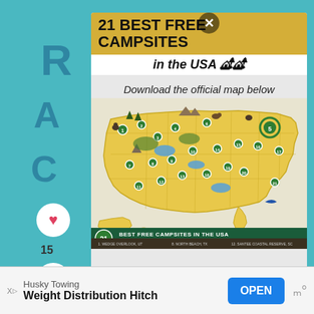21 BEST FREE CAMPSITES
in the USA 🏕️
Download the official map below
[Figure (map): Illustrated map of the USA showing 21 best free campsites numbered and marked with illustrated icons of nature scenes, wildlife, and campsite locations across the country. The map has a yellow background showing US state borders, with decorative illustrations of trees, mountains, lakes, and animals at each campsite location. At the bottom it reads '21 BEST FREE CAMPSITES IN THE USA' with a list of campsite names.]
Husky Towing
Weight Distribution Hitch
OPEN